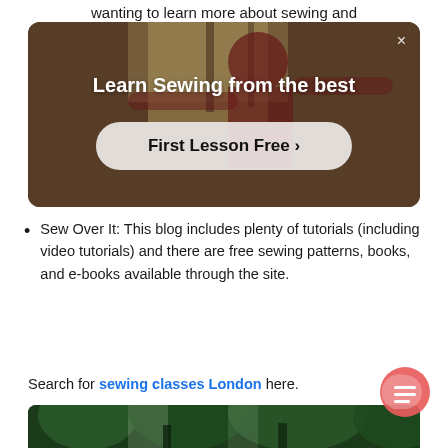wanting to learn more about sewing and
[Figure (screenshot): Advertisement banner showing a person sewing with text 'Learn Sewing from the best' and a 'First Lesson Free >' button, with a close (×) button in the top right corner. Background shows a warm-toned indoor sewing scene.]
Sew Over It: This blog includes plenty of tutorials (including video tutorials) and there are free sewing patterns, books, and e-books available through the site.
Search for sewing classes London here.
[Figure (photo): Partial photo showing trees/forest scene at the bottom of the page.]